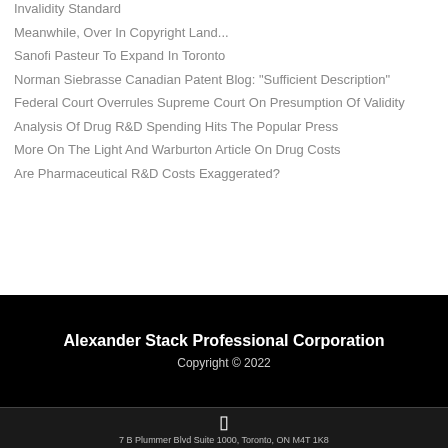Invalidity Standard
Meanwhile, Over In Copyright Land...
Sanofi Pasteur To Expand In Toronto
Norman Siebrasse Canadian Patent Blog: "Sufficient Description"
Federal Court Overrules Supreme Court On Presumption Of Validity
Analysis Of Drug R&D Spending Hits The Popular Press
More On The Light And Warburton Article On Drug Costs
Are Pharmaceutical R&D Costs Exaggerated?
Alexander Stack Professional Corporation
Copyright © 2022
7 B Plummer Blvd Suite 1000, Toronto, ON M4T 1K8